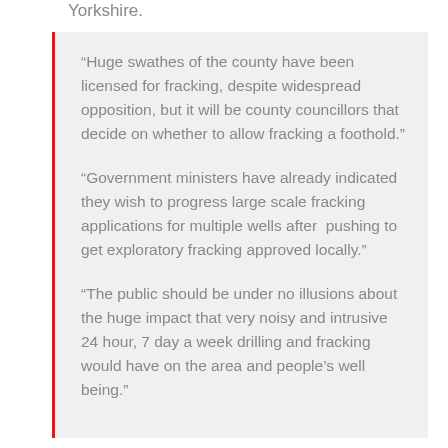Yorkshire.
“Huge swathes of the county have been licensed for fracking, despite widespread opposition, but it will be county councillors that decide on whether to allow fracking a foothold.”
“Government ministers have already indicated they wish to progress large scale fracking applications for multiple wells after pushing to get exploratory fracking approved locally.”
“The public should be under no illusions about the huge impact that very noisy and intrusive 24 hour, 7 day a week drilling and fracking would have on the area and people’s well being.”